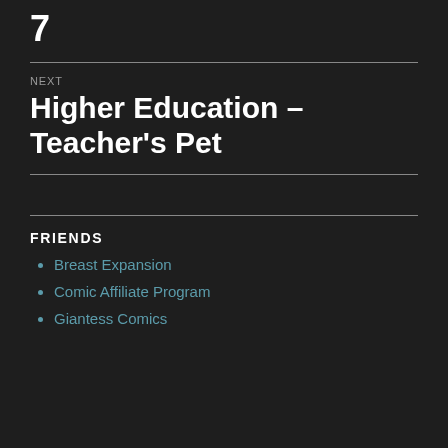7
NEXT
Higher Education – Teacher's Pet
FRIENDS
Breast Expansion
Comic Affiliate Program
Giantess Comics